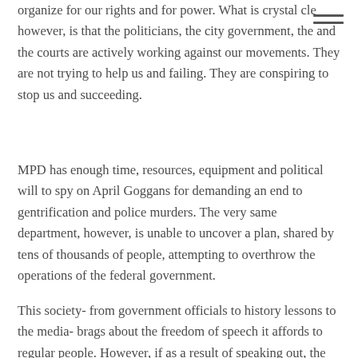organize for our rights and for power. What is crystal cle however, is that the politicians, the city government, the and the courts are actively working against our movements. They are not trying to help us and failing. They are conspiring to stop us and succeeding.
MPD has enough time, resources, equipment and political will to spy on April Goggans for demanding an end to gentrification and police murders. The very same department, however, is unable to uncover a plan, shared by tens of thousands of people, attempting to overthrow the operations of the federal government.
This society- from government officials to history lessons to the media- brags about the freedom of speech it affords to regular people. However, if as a result of speaking out, the